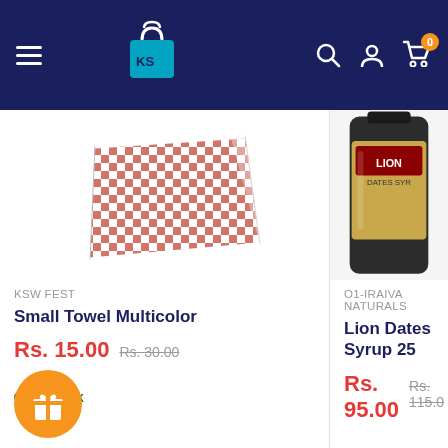KSW shop navigation bar with hamburger menu, KS logo, search, account, and cart (0 items)
[Figure (photo): Red and white checkered small towel product photo]
KSW FEST
Small Towel Multicolor
Rs. 15.00  Rs. 30.00
In stock
[Figure (photo): Lion Dates Syrup dark bottle product photo (partially visible)]
O1-IRAIVA NATURALS
Lion Dates Syrup 25
Rs. 95.00  Rs. 115.0
In stock